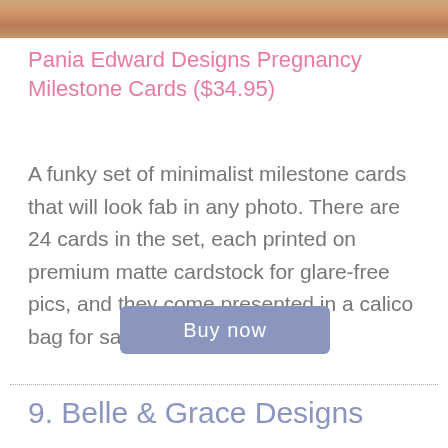[Figure (photo): Cropped image strip at the top of the page showing warm-toned photo content]
Pania Edward Designs Pregnancy Milestone Cards ($34.95)
A funky set of minimalist milestone cards that will look fab in any photo. There are 24 cards in the set, each printed on premium matte cardstock for glare-free pics, and they come presented in a calico bag for safekeeping.
Buy now
9. Belle & Grace Designs